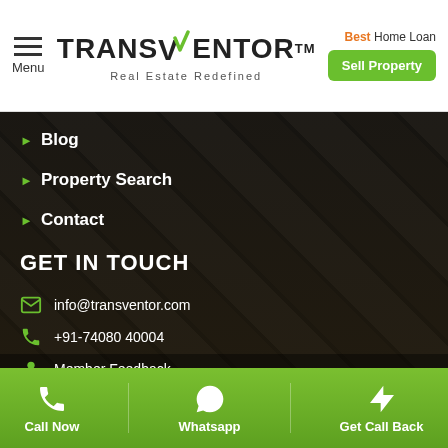[Figure (logo): Transventor logo with checkmark and 'Real Estate Redefined' tagline]
Best Home Loan
Sell Property
Blog
Property Search
Contact
GET IN TOUCH
info@transventor.com
+91-74080 40004
Member Feedback
Member Search
Call Now
Whatsapp
Get Call Back